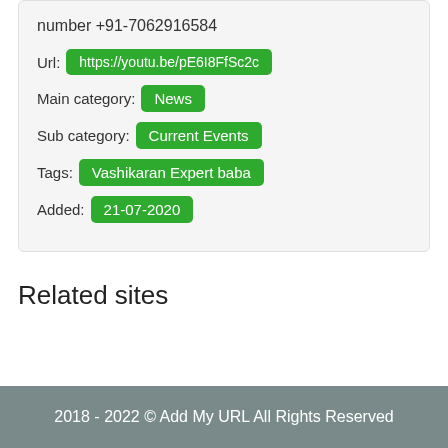number +91-7062916584
Url: https://youtu.be/pE6I8FfSc2c
Main category: News
Sub category: Current Events
Tags: Vashikaran Expert baba
Added: 21-07-2020
Related sites
2018 - 2022 © Add My URL All Rights Reserved